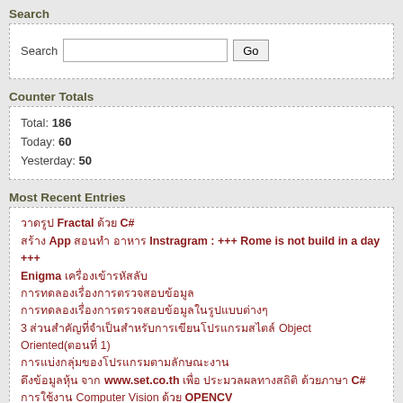Search
Search [input] Go
Counter Totals
Total: 186
Today: 60
Yesterday: 50
Most Recent Entries
วาดรูป Fractal ด้วย C#
สร้าง App สอนทำ อาหาร Instragram : +++ Rome is not build in a day +++
Enigma เครื่องเข้ารหัสลับ
การทดลองเรื่องการตรวจสอบข้อมูล
การทดลองเรื่องการตรวจสอบข้อมูลในรูปแบบต่างๆ
3 ส่วนสำคัญที่จำเป็นสำหรับการเขียนโปรแกรมสไตล์ Object Oriented(ตอนที่ 1)
การแบ่งกลุ่มของโปรแกรมตามลักษณะงาน
ดึงข้อมูลหุ้น จาก www.set.co.th เพื่อ ประมวลผลทางสถิติ ด้วยภาษา C#
การใช้งาน Computer Vision ด้วย OPENCV
การใช้ high Resolution Timer ด้วย c++
Powered By
[Figure (other): Powered By section content area (empty/logo area)]